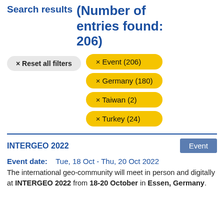Search results (Number of entries found: 206)
× Reset all filters
× Event (206)
× Germany (180)
× Taiwan (2)
× Turkey (24)
INTERGEO 2022
Event date: Tue, 18 Oct - Thu, 20 Oct 2022
The international geo-community will meet in person and digitally at INTERGEO 2022 from 18-20 October in Essen, Germany.